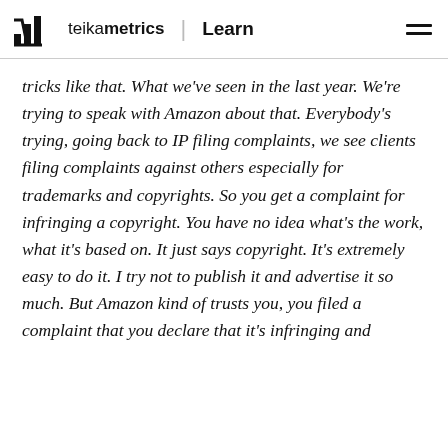teikametrics | Learn
tricks like that. What we've seen in the last year. We're trying to speak with Amazon about that. Everybody's trying, going back to IP filing complaints, we see clients filing complaints against others especially for trademarks and copyrights. So you get a complaint for infringing a copyright. You have no idea what's the work, what it's based on. It just says copyright. It's extremely easy to do it. I try not to publish it and advertise it so much. But Amazon kind of trusts you, you filed a complaint that you declare that it's infringing and